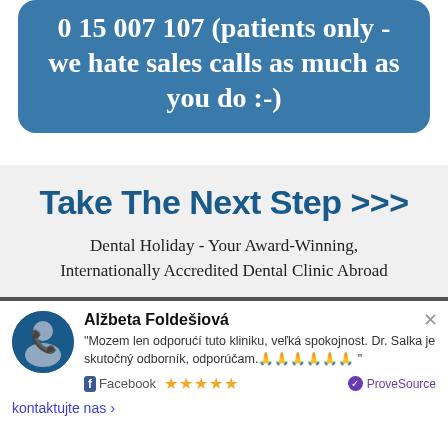0 15 007 107 (patients only - we hate sales calls as much as you do :-)
Take The Next Step >>>
Dental Holiday - Your Award-Winning, Internationally Accredited Dental Clinic Abroad
Alžbeta Foldešiová
"Mozem len odporučiť tuto kliniku, veľká spokojnost. Dr. Salka je skutočný odborník, odporúčam.🙏🙏🙏🙏🙏🙏 "
Facebook ★★★★★ ProveSource
kontaktujte nas >